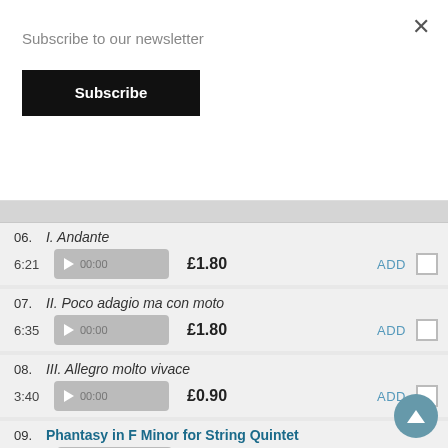Subscribe to our newsletter
Subscribe
06. I. Andante — 6:21 — £1.80
07. II. Poco adagio ma con moto — 6:35 — £1.80
08. III. Allegro molto vivace — 3:40 — £0.90
09. Phantasy in F Minor for String Quintet — 11:18 — £2.70
String Quartet in F Major